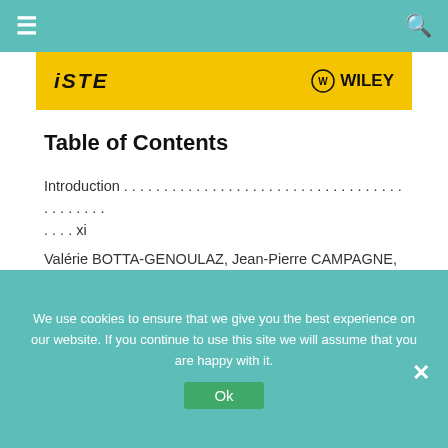≡   [navigation bar with search icon]
[Figure (logo): ISTE and Wiley publisher logos on yellow background banner]
Table of Contents
Introduction . . . . . . . . . . . . . . . . . . . . . . . . . . . . . . . . . . . . . . . . . . . xi
Valérie BOTTA-GENOULAZ, Jean-Pierre CAMPAGNE, Daniel LLERENA and Claude PELLEGRIN
PART I. FOCUS ON COLLABORATIVE PRACTICES . . . . . . . . .
We use cookies to ensure that we give you the best experience on our website. If you continue to use this site we will assume that you are happy with it.